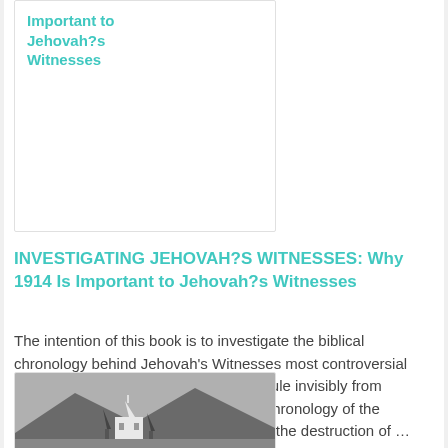Important to Jehovah?s Witnesses
INVESTIGATING JEHOVAH?S WITNESSES: Why 1914 Is Important to Jehovah?s Witnesses
The intention of this book is to investigate the biblical chronology behind Jehovah's Witnesses most controversial doctrinal position that Jesus began to rule invisibly from heaven in October 1914. This biblical chronology of the Witnesses hinges upon their belief that the destruction of …
[Figure (photo): Black and white photograph of a small church or chapel in a valley with mountains in the background]